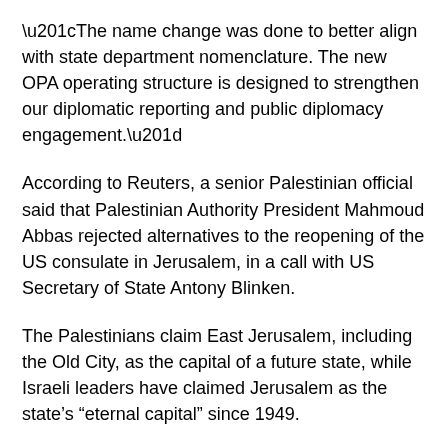“The name change was done to better align with state department nomenclature. The new OPA operating structure is designed to strengthen our diplomatic reporting and public diplomacy engagement.”
According to Reuters, a senior Palestinian official said that Palestinian Authority President Mahmoud Abbas rejected alternatives to the reopening of the US consulate in Jerusalem, in a call with US Secretary of State Antony Blinken.
The Palestinians claim East Jerusalem, including the Old City, as the capital of a future state, while Israeli leaders have claimed Jerusalem as the state’s “eternal capital” since 1949.
Several Israeli officials in Prime Minister Naftali Bennett’s government have opposed the US plan.